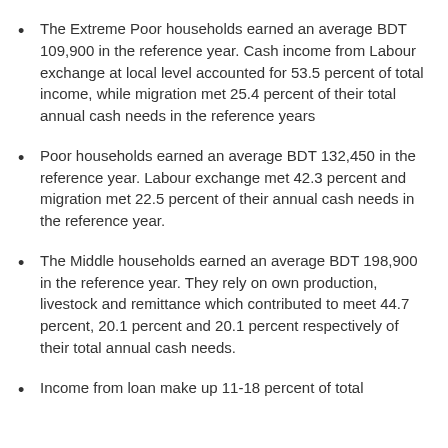The Extreme Poor households earned an average BDT 109,900 in the reference year. Cash income from Labour exchange at local level accounted for 53.5 percent of total income, while migration met 25.4 percent of their total annual cash needs in the reference years
Poor households earned an average BDT 132,450 in the reference year. Labour exchange met 42.3 percent and migration met 22.5 percent of their annual cash needs in the reference year.
The Middle households earned an average BDT 198,900 in the reference year. They rely on own production, livestock and remittance which contributed to meet 44.7 percent, 20.1 percent and 20.1 percent respectively of their total annual cash needs.
Income from loan make up 11-18 percent of total